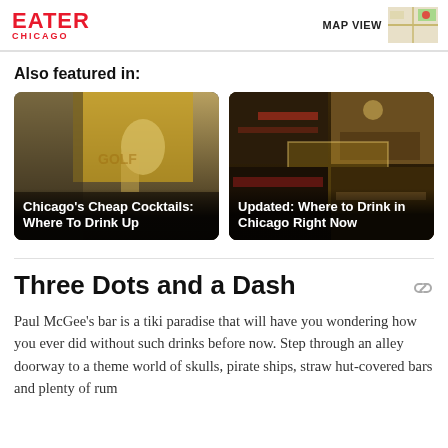EATER CHICAGO
Also featured in:
[Figure (photo): Card image: person in yellow shirt holding a drink, cocktail bar background — Chicago's Cheap Cocktails: Where To Drink Up]
[Figure (photo): Card collage: multiple shots of a dimly lit bar interior — Updated: Where to Drink in Chicago Right Now]
Three Dots and a Dash
Paul McGee's bar is a tiki paradise that will have you wondering how you ever did without such drinks before now. Step through an alley doorway to a theme world of skulls, pirate ships, straw hut-covered bars and plenty of rum